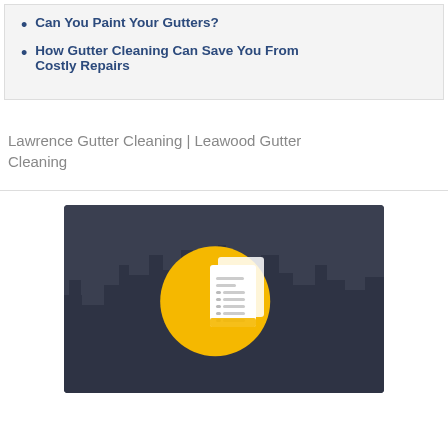Can You Paint Your Gutters?
How Gutter Cleaning Can Save You From Costly Repairs
Lawrence Gutter Cleaning | Leawood Gutter Cleaning
[Figure (illustration): Dark cityscape background with a yellow circle and white document/invoice icon in the center]